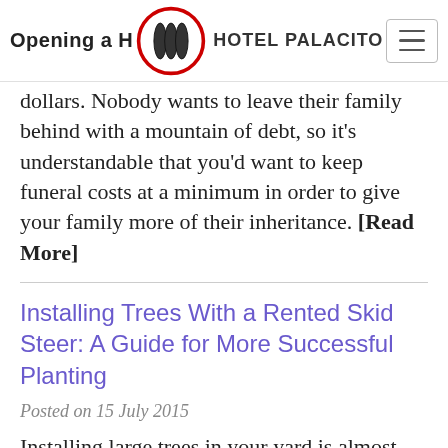Opening a H... | HOTEL PALACITO
dollars. Nobody wants to leave their family behind with a mountain of debt, so it's understandable that you'd want to keep funeral costs at a minimum in order to give your family more of their inheritance. [Read More]
Installing Trees With a Rented Skid Steer: A Guide for More Successful Planting
Posted on 15 July 2015
Installing large trees in your yard is almost impossible to do without some sort of heavy machinery. The root...